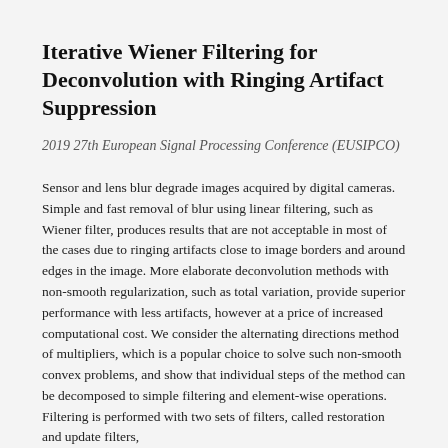Iterative Wiener Filtering for Deconvolution with Ringing Artifact Suppression
2019 27th European Signal Processing Conference (EUSIPCO)
Sensor and lens blur degrade images acquired by digital cameras. Simple and fast removal of blur using linear filtering, such as Wiener filter, produces results that are not acceptable in most of the cases due to ringing artifacts close to image borders and around edges in the image. More elaborate deconvolution methods with non-smooth regularization, such as total variation, provide superior performance with less artifacts, however at a price of increased computational cost. We consider the alternating directions method of multipliers, which is a popular choice to solve such non-smooth convex problems, and show that individual steps of the method can be decomposed to simple filtering and element-wise operations. Filtering is performed with two sets of filters, called restoration and update filters,